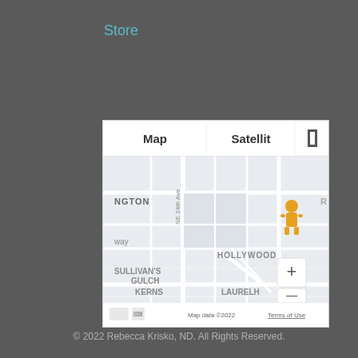Store
[Figure (map): Google Map screenshot showing a neighborhood map of Portland, OR area with neighborhoods HOLLYWOOD, SULLIVAN'S GULCH, KERNS, and LAURELH visible. A yellow pegman figure is placed on the map. Map/Satellite toggle buttons and zoom controls are visible. Footer shows Map data ©2022 Terms of Use.]
© 2022 Rebecca Krisko, ND. All Rights Reserved.